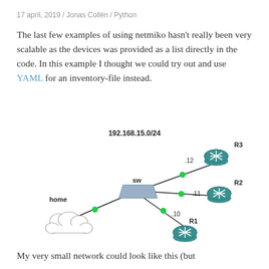17 april, 2019 / Jonas Collén / Python
The last few examples of using netmiko hasn't really been very scalable as the devices was provided as a list directly in the code. In this example I thought we could try out and use YAML for an inventory-file instead.
[Figure (network-graph): Network diagram showing a switch (sw) connected to a home cloud, and three routers R1 (.10), R2 (.11), R3 (.12) on the 192.168.15.0/24 subnet. Green dots mark connection points.]
My very small network could look like this (but